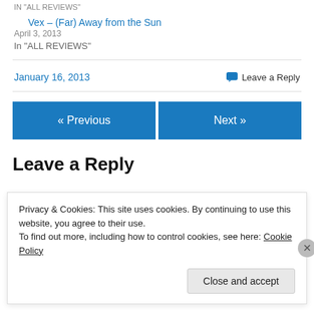IN "ALL REVIEWS"
Vex – (Far) Away from the Sun
April 3, 2013
In "ALL REVIEWS"
January 16, 2013    Leave a Reply
« Previous
Next »
Leave a Reply
Privacy & Cookies: This site uses cookies. By continuing to use this website, you agree to their use.
To find out more, including how to control cookies, see here: Cookie Policy
Close and accept